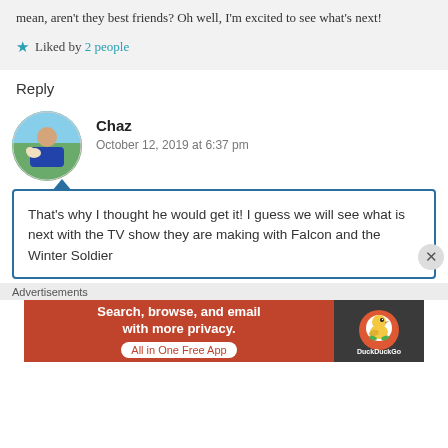mean, aren't they best friends? Oh well, I'm excited to see what's next!
★ Liked by 2 people
Reply
Chaz
October 12, 2019 at 6:37 pm
That's why I thought he would get it! I guess we will see what is next with the TV show they are making with Falcon and the Winter Soldier
Advertisements
[Figure (screenshot): DuckDuckGo advertisement banner: orange left panel with text 'Search, browse, and email with more privacy. All in One Free App', dark right panel with DuckDuckGo logo]